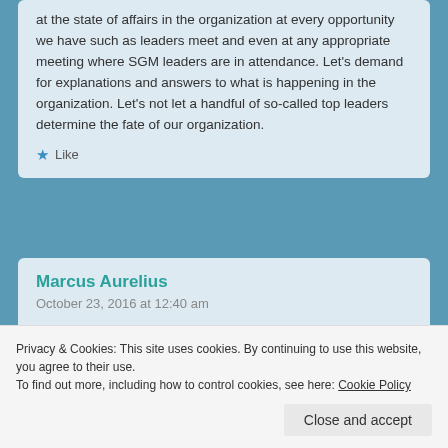at the state of affairs in the organization at every opportunity we have such as leaders meet and even at any appropriate meeting where SGM leaders are in attendance. Let's demand for explanations and answers to what is happening in the organization. Let's not let a handful of so-called top leaders determine the fate of our organization.
Like
Marcus Aurelius
October 23, 2016 at 12:40 am
Reply to Ringgit
Privacy & Cookies: This site uses cookies. By continuing to use this website, you agree to their use.
To find out more, including how to control cookies, see here: Cookie Policy
Close and accept